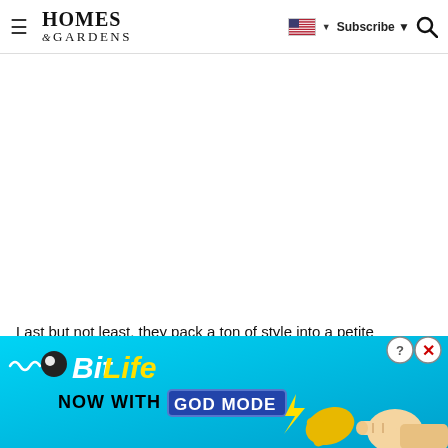HOMES & GARDENS — Subscribe
Last but not least, they pack a ton of style into a petite package. You don't need much else in the way of decor or accessories to make a statement.
[Figure (screenshot): BitLife advertisement banner: 'BitLife NOW WITH GOD MODE' on a cyan/blue background with yellow cartoon thumb and pointing hand illustrations, plus help (?) and close (X) buttons.]